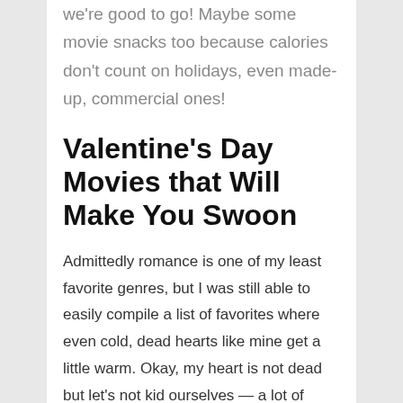we're good to go! Maybe some movie snacks too because calories don't count on holidays, even made-up, commercial ones!
Valentine's Day Movies that Will Make You Swoon
Admittedly romance is one of my least favorite genres, but I was still able to easily compile a list of favorites where even cold, dead hearts like mine get a little warm. Okay, my heart is not dead but let's not kid ourselves — a lot of